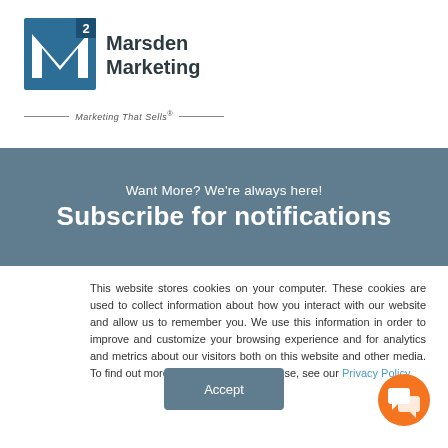[Figure (logo): Marsden Marketing M-squared logo with blue stylized M and superscript 2, company name in dark text, tagline 'Marketing That Sells' with decorative lines]
Want More? We're always here!
Subscribe for notifications
This website stores cookies on your computer. These cookies are used to collect information about how you interact with our website and allow us to remember you. We use this information in order to improve and customize your browsing experience and for analytics and metrics about our visitors both on this website and other media. To find out more about the cookies we use, see our Privacy Policy.
Accept